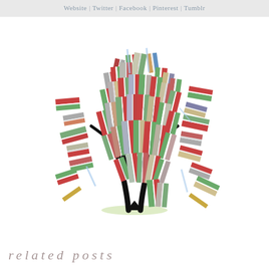Website | Twitter | Facebook | Pinterest | Tumblr
[Figure (illustration): A decorative tree made of colorful books arranged as foliage, with a black trunk and branches, on a white background with a slight green ground shadow.]
related posts